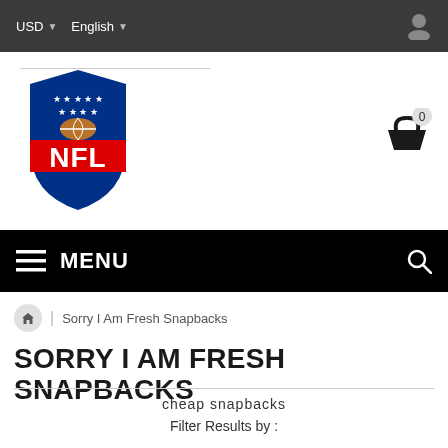USD  English
[Figure (logo): NFL shield logo with football and stars, red NFL text on blue shield]
[Figure (infographic): Shopping basket icon with badge showing 0]
MENU
Sorry I Am Fresh Snapbacks
SORRY I AM FRESH SNAPBACKS
cheap snapbacks
Filter Results by :